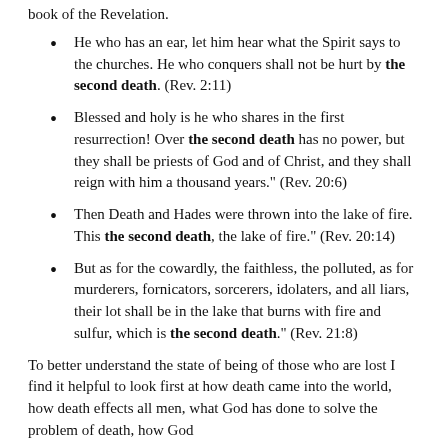book of the Revelation.
He who has an ear, let him hear what the Spirit says to the churches. He who conquers shall not be hurt by the second death. (Rev. 2:11)
Blessed and holy is he who shares in the first resurrection! Over the second death has no power, but they shall be priests of God and of Christ, and they shall reign with him a thousand years." (Rev. 20:6)
Then Death and Hades were thrown into the lake of fire. This the second death, the lake of fire." (Rev. 20:14)
But as for the cowardly, the faithless, the polluted, as for murderers, fornicators, sorcerers, idolaters, and all liars, their lot shall be in the lake that burns with fire and sulfur, which is the second death." (Rev. 21:8)
To better understand the state of being of those who are lost I find it helpful to look first at how death came into the world, how death effects all men, what God has done to solve the problem of death, how God